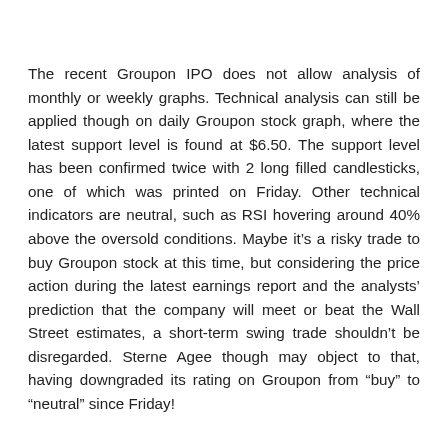The recent Groupon IPO does not allow analysis of monthly or weekly graphs. Technical analysis can still be applied though on daily Groupon stock graph, where the latest support level is found at $6.50. The support level has been confirmed twice with 2 long filled candlesticks, one of which was printed on Friday. Other technical indicators are neutral, such as RSI hovering around 40% above the oversold conditions. Maybe it's a risky trade to buy Groupon stock at this time, but considering the price action during the latest earnings report and the analysts' prediction that the company will meet or beat the Wall Street estimates, a short-term swing trade shouldn't be disregarded. Sterne Agee though may object to that, having downgraded its rating on Groupon from “buy” to “neutral” since Friday!